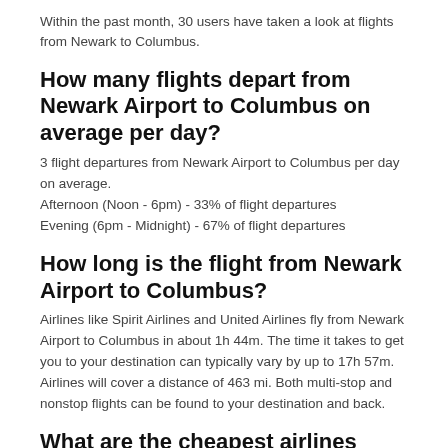Within the past month, 30 users have taken a look at flights from Newark to Columbus.
How many flights depart from Newark Airport to Columbus on average per day?
3 flight departures from Newark Airport to Columbus per day on average.
Afternoon (Noon - 6pm) - 33% of flight departures
Evening (6pm - Midnight) - 67% of flight departures
How long is the flight from Newark Airport to Columbus?
Airlines like Spirit Airlines and United Airlines fly from Newark Airport to Columbus in about 1h 44m. The time it takes to get you to your destination can typically vary by up to 17h 57m. Airlines will cover a distance of 463 mi. Both multi-stop and nonstop flights can be found to your destination and back.
What are the cheapest airlines flying from